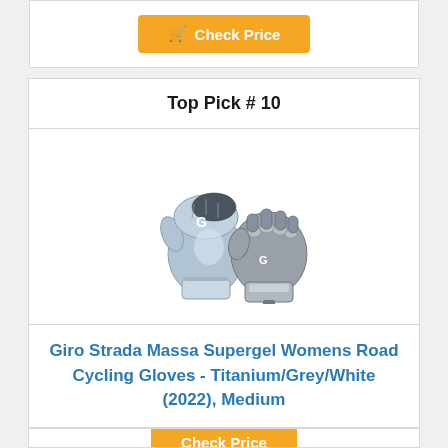Check Price
Top Pick # 10
[Figure (photo): A pair of Giro Strada Massa Supergel Womens Road Cycling Gloves in Titanium/Grey/White color, shown from front and back angles.]
Giro Strada Massa Supergel Womens Road Cycling Gloves - Titanium/Grey/White (2022), Medium
Check Price